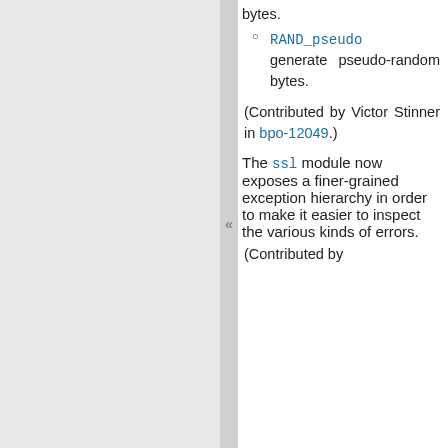RAND_pseudo generate pseudo-random bytes.
(Contributed by Victor Stinner in bpo-12049.)
The ssl module now exposes a finer-grained exception hierarchy in order to make it easier to inspect the various kinds of errors.
(Contributed by